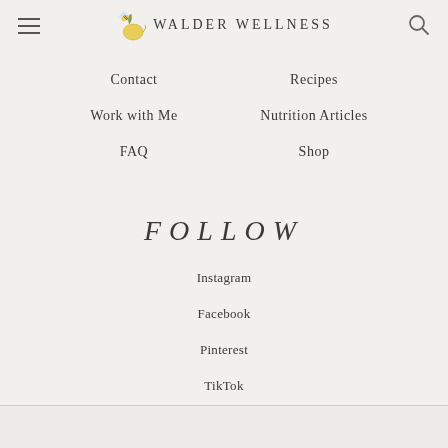WALDER WELLNESS
Contact
Recipes
Work with Me
Nutrition Articles
FAQ
Shop
FOLLOW
Instagram
Facebook
Pinterest
TikTok